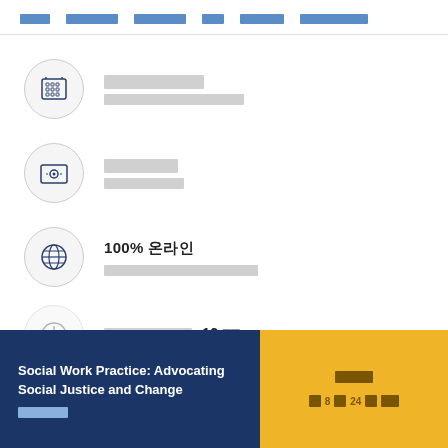□□  □□□□  □□□□  □□  □□□□  □□□□□□□
□□□□□□□□□ / □□□□□□□□□□□□□□
□□□□□□ / □□□□□□□
100% 온라인 / □□□□□□□□□□□□□□□
□□□□□□□□12 □□
Social Work Practice: Advocating Social Justice and Change
□□□□□
□□□□ / □ 8□24□ □□